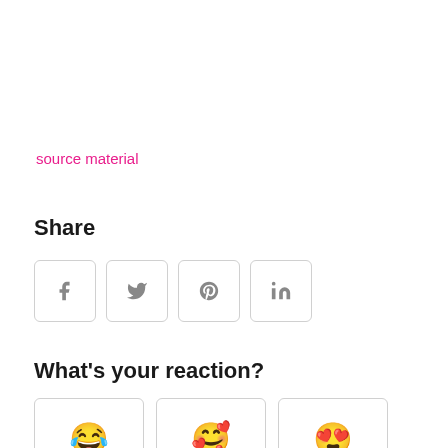source material
Share
[Figure (other): Four social share buttons: Facebook (f), Twitter (bird), Pinterest (p), LinkedIn (in)]
What's your reaction?
[Figure (other): Three reaction emoji cards: laughing face, smiling face, heart-eyes face]